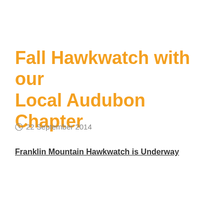Fall Hawkwatch with our Local Audubon Chapter
22 September 2014
Franklin Mountain Hawkwatch is Underway